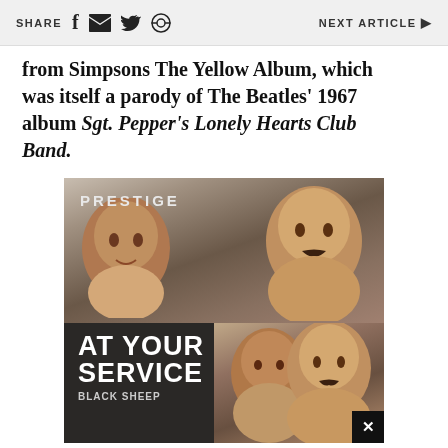SHARE  NEXT ARTICLE ▶
from Simpsons The Yellow Album, which was itself a parody of The Beatles' 1967 album Sgt. Pepper's Lonely Hearts Club Band.
[Figure (photo): Advertisement image top: Two men photographed together, label 'PRESTIGE' in white text upper left. Dark background.]
[Figure (photo): Advertisement image bottom: Same two men photographed together, text 'AT YOUR SERVICE' in large white letters, 'BLACK SHEEP' below, dark background. Close button X on right.]